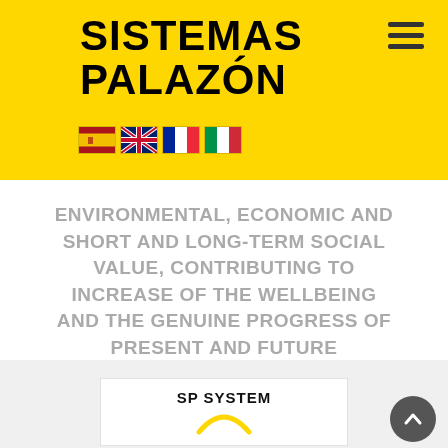SISTEMAS PALAZÓN
[Figure (logo): Hamburger menu icon (three horizontal lines) in top-right corner of yellow header]
[Figure (infographic): Row of four country flags: Spain, UK, France, Italy]
ENVIRONMENTAL, ECONOMIC AND SHORT AND LONG-TERM SOCIAL VALUE, CONTRIBUTING TO INCREASE OF THE WELLBEING AND THE GENUINE PROGRESS OF PRESENT AND FUTURE GENERATIONS.
SP SYSTEM